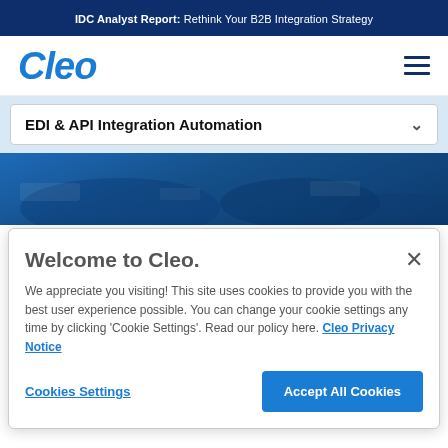IDC Analyst Report: Rethink Your B2B Integration Strategy
[Figure (logo): Cleo company logo in blue italic bold text]
EDI & API Integration Automation
[Figure (photo): Blue-toned hero background image]
Welcome to Cleo.
We appreciate you visiting! This site uses cookies to provide you with the best user experience possible. You can change your cookie settings any time by clicking 'Cookie Settings'. Read our policy here. Cleo Privacy Notice
Cookies Settings
Accept All Cookies